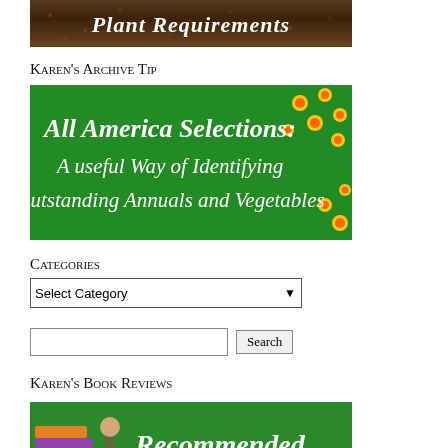[Figure (illustration): Dark soil/dirt texture banner with white italic text 'Plant Requirements']
Karen's Archive Tip
[Figure (illustration): Green banner with white italic text: 'All America Selections: A useful Way of Identifying Outstanding Annuals and Vegetables' with yellow daisy flower decorations]
Categories
Select Category dropdown
Search input box with Search button
Karen's Book Reviews
[Figure (illustration): Green banner with white italic text 'Recommended Garden Books' with books and gardening imagery]